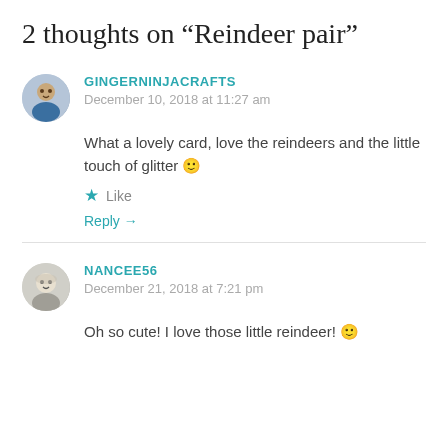2 thoughts on “Reindeer pair”
GINGERNINJACRAFTS
December 10, 2018 at 11:27 am
What a lovely card, love the reindeers and the little touch of glitter 🙂
Like
Reply →
NANCEE56
December 21, 2018 at 7:21 pm
Oh so cute! I love those little reindeer! 🙂